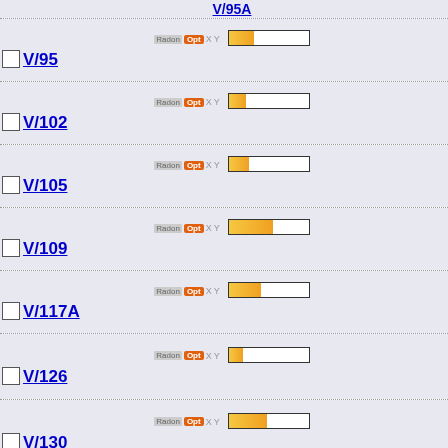V/95 (c) SH... 19... ob...
V/102 (c) SH... (S... is...
V/105 (c) SH... Th... VA...
V/109 (c) SH... Th... VA...
V/117A G... ne... ca... is...
V/126 (c) 18k M... 20...
V/130 (c) 17k G... ne...
V/137D (c) 118k Ex... (A...